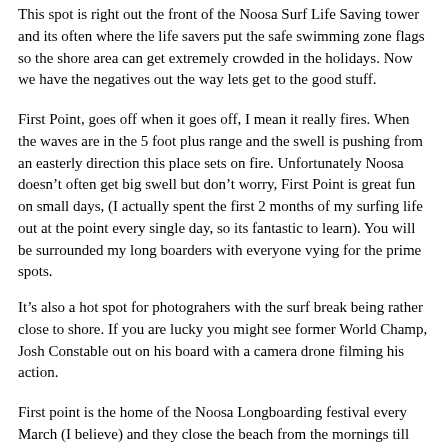This spot is right out the front of the Noosa Surf Life Saving tower and its often where the life savers put the safe swimming zone flags so the shore area can get extremely crowded in the holidays. Now we have the negatives out the way lets get to the good stuff.
First Point, goes off when it goes off, I mean it really fires. When the waves are in the 5 foot plus range and the swell is pushing from an easterly direction this place sets on fire. Unfortunately Noosa doesn’t often get big swell but don’t worry, First Point is great fun on small days, (I actually spent the first 2 months of my surfing life out at the point every single day, so its fantastic to learn). You will be surrounded my long boarders with everyone vying for the prime spots.
It’s also a hot spot for photograhers with the surf break being rather close to shore. If you are lucky you might see former World Champ, Josh Constable out on his board with a camera drone filming his action.
First point is the home of the Noosa Longboarding festival every March (I believe) and they close the beach from the mornings till about 5pm but its great to go down and watch the pros do their thing.